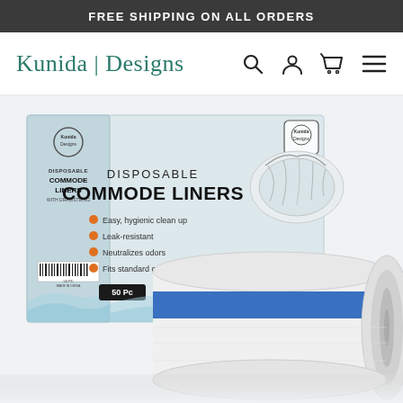FREE SHIPPING ON ALL ORDERS
Kunida | Designs
[Figure (photo): Product photo of Kunida Designs Disposable Commode Liners — product box and a roll of white liners with blue band. Box shows brand logo, bullet points: Easy hygienic clean up, Leak-resistant, Neutralizes odors, Fits standard comm... Box indicates 50 Pieces.]